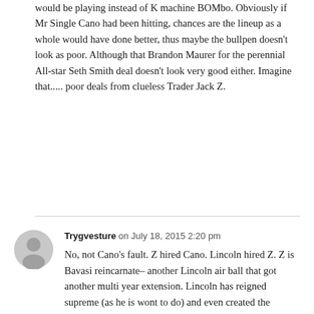would be playing instead of K machine BOMbo. Obviously if Mr Single Cano had been hitting, chances are the lineup as a whole would have done better, thus maybe the bullpen doesn't look as poor. Although that Brandon Maurer for the perennial All-star Seth Smith deal doesn't look very good either. Imagine that..... poor deals from clueless Trader Jack Z.
Trygvesture on July 18, 2015 2:20 pm
No, not Cano's fault. Z hired Cano. Lincoln hired Z. Z is Bavasi reincarnate– another Lincoln air ball that got another multi year extension. Lincoln has reigned supreme (as he is wont to do) and even created the Clownship and the Clownship legacy. All on his pathetic watch